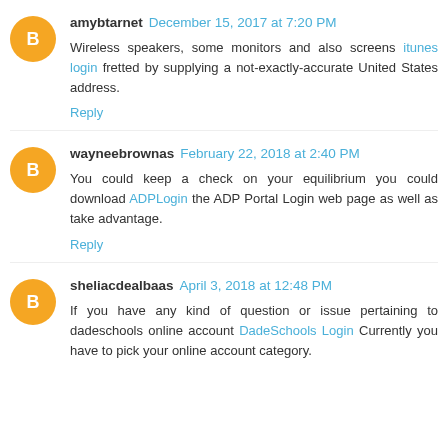amybtarnet December 15, 2017 at 7:20 PM
Wireless speakers, some monitors and also screens itunes login fretted by supplying a not-exactly-accurate United States address.
Reply
wayneebrownas February 22, 2018 at 2:40 PM
You could keep a check on your equilibrium you could download ADPLogin the ADP Portal Login web page as well as take advantage.
Reply
sheliacdealbaas April 3, 2018 at 12:48 PM
If you have any kind of question or issue pertaining to dadeschools online account DadeSchools Login Currently you have to pick your online account category.